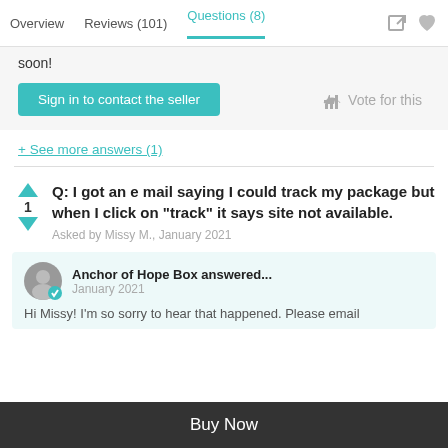Overview   Reviews (101)   Questions (8)
soon!
Sign in to contact the seller   Vote for this
+ See more answers (1)
Q: I got an e mail saying I could track my package but when I click on "track" it says site not available.
Asked by Missy M., January 2021
Anchor of Hope Box answered... January 2021
Hi Missy! I'm so sorry to hear that happened. Please email
Buy Now